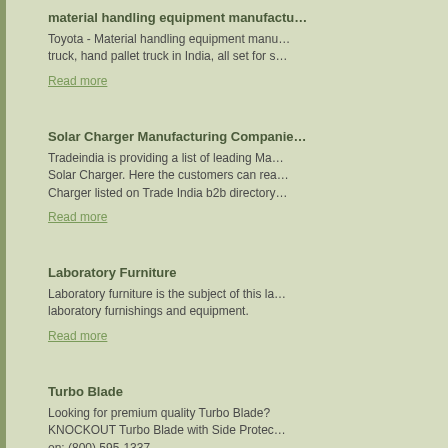material handling equipment manufactu…
Toyota - Material handling equipment manu… truck, hand pallet truck in India, all set for s…
Read more
Solar Charger Manufacturing Companie…
Tradeindia is providing a list of leading Ma… Solar Charger. Here the customers can rea… Charger listed on Trade India b2b directory…
Read more
Laboratory Furniture
Laboratory furniture is the subject of this la… laboratory furnishings and equipment.
Read more
Turbo Blade
Looking for premium quality Turbo Blade? KNOCKOUT Turbo Blade with Side Protec… on: (800) 595-1337